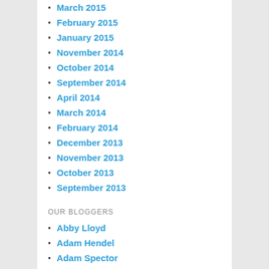March 2015
February 2015
January 2015
November 2014
October 2014
September 2014
April 2014
March 2014
February 2014
December 2013
November 2013
October 2013
September 2013
OUR BLOGGERS
Abby Lloyd
Adam Hendel
Adam Spector
Adrienne Motley
Alejandro Granda
Alex Goldman